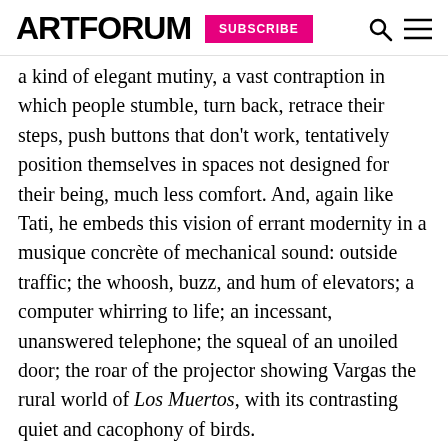ARTFORUM  SUBSCRIBE
a kind of elegant mutiny, a vast contraption in which people stumble, turn back, retrace their steps, push buttons that don't work, tentatively position themselves in spaces not designed for their being, much less comfort. And, again like Tati, he embeds this vision of errant modernity in a musique concrète of mechanical sound: outside traffic; the whoosh, buzz, and hum of elevators; a computer whirring to life; an incessant, unanswered telephone; the squeal of an unoiled door; the roar of the projector showing Vargas the rural world of Los Muertos, with its contrasting quiet and cacophony of birds.
Stealthily shot in slow dollies, pans, and tracks, with two precredit ploys—a long, dreamy image of